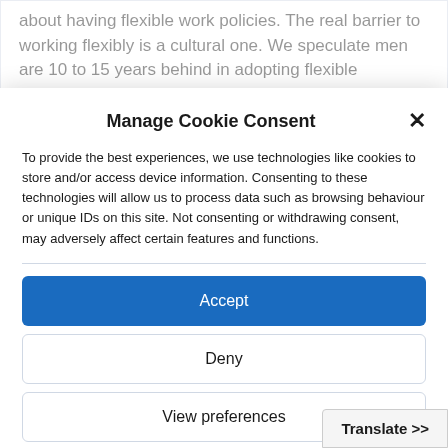about having flexible work policies. The real barrier to working flexibly is a cultural one. We speculate men are 10 to 15 years behind in adopting flexible working.”
Manage Cookie Consent
To provide the best experiences, we use technologies like cookies to store and/or access device information. Consenting to these technologies will allow us to process data such as browsing behaviour or unique IDs on this site. Not consenting or withdrawing consent, may adversely affect certain features and functions.
Accept
Deny
View preferences
Cookie Policy  Privacy Policy
Translate >>